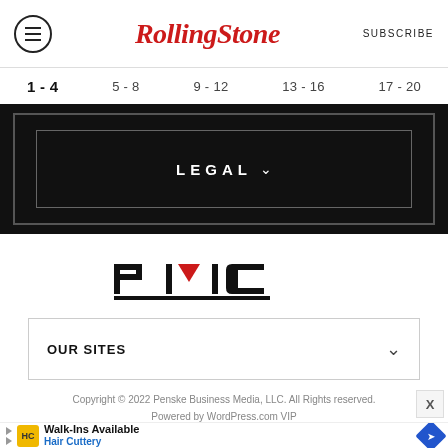RollingStone — SUBSCRIBE
1 - 4
5 - 8
9 - 12
13 - 16
17 - 20
[Figure (screenshot): Black box with outer and inner white border containing LEGAL dropdown label in white text]
[Figure (logo): PMC (Penske Media Corporation) logo in black and red]
OUR SITES
Copyright © 2022 Penske Business Media, LLC. All Rights Reserved.
Powered by WordPress.com VIP
[Figure (photo): Advertisement: Walk-Ins Available — Hair Cuttery with yellow HC logo and blue diamond navigation icon]